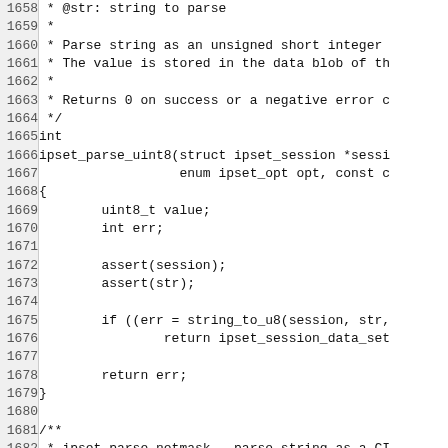[Figure (other): Source code listing (C language) with line numbers 1658–1688, showing ipset_parse_uint8 function definition and start of ipset_parse_netmask comment block]